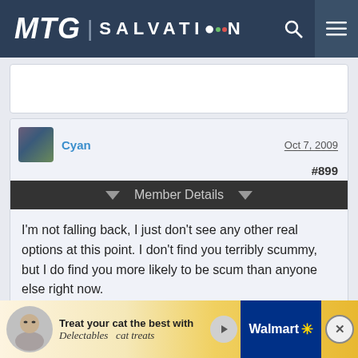MTG SALVATION
[Figure (screenshot): Previous forum post stub (cropped, content not visible)]
Cyan
Oct 7, 2009
#899
Member Details
I'm not falling back, I just don't see any other real options at this point. I don't find you terribly scummy, but I do find you more likely to be scum than anyone else right now.
[Figure (screenshot): Next forum post stub — username Wrath of BoG partially visible, date Oct 7 2009 partially visible]
[Figure (screenshot): Ad banner: Treat your cat the best with Delectables cat treats — Walmart advertisement]